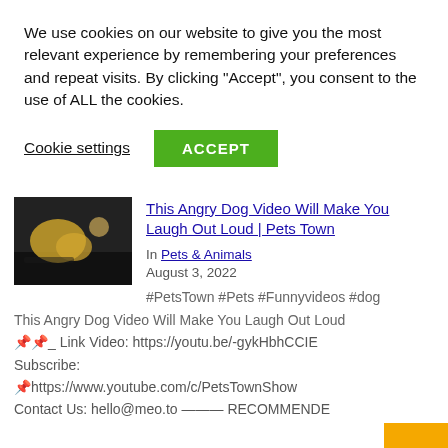We use cookies on our website to give you the most relevant experience by remembering your preferences and repeat visits. By clicking "Accept", you consent to the use of ALL the cookies.
Cookie settings  ACCEPT
This Angry Dog Video Will Make You Laugh Out Loud | Pets Town
In Pets & Animals
August 3, 2022
#PetsTown #Pets #Funnyvideos #dog
This Angry Dog Video Will Make You Laugh Out Loud 📌📌 _ Link Video: https://youtu.be/-gykHbhCCIE Subscribe: 📌https://www.youtube.com/c/PetsTownShow Contact Us: hello@meo.to ——— RECOMMENDED 1️⃣CHANNELS! Worldpedia (Wild Animals): […]